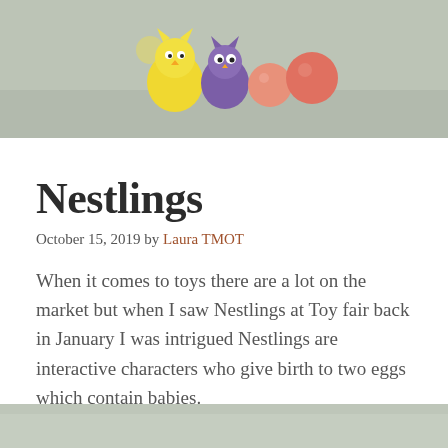[Figure (photo): Photo of colorful toy Nestlings characters — a yellow bird-like creature, a purple owl-like creature, and pink/red ball-shaped figures arranged on a light surface]
Nestlings
October 15, 2019 by Laura TMOT
When it comes to toys there are a lot on the market but when I saw Nestlings at Toy fair back in January I was intrigued Nestlings are interactive characters who give birth to two eggs which contain babies.
[Figure (photo): Partial bottom photo, cropped — appears to show another toy-related image on a light background]